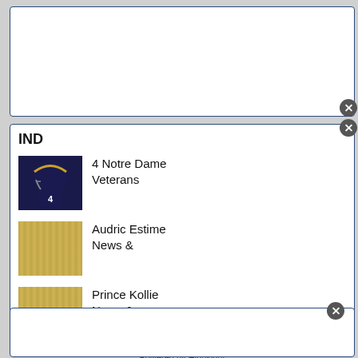[Figure (screenshot): Top white panel - browser ad/widget area]
IND
[Figure (photo): Notre Dame football player wearing jersey #4]
4 Notre Dame Veterans
[Figure (illustration): Gold striped thumbnail image placeholder]
Audric Estime News &
[Figure (illustration): Gold striped thumbnail image placeholder]
Prince Kollie News &
Powered by Hindsight
[Figure (screenshot): Bottom white panel - browser ad/widget area]